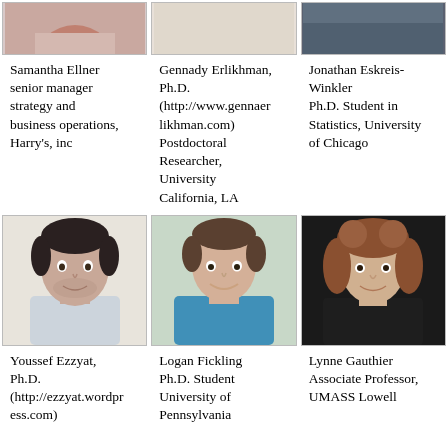[Figure (photo): Photo of Samantha Ellner (top portion visible)]
[Figure (photo): Photo of Gennady Erlikhman (top portion visible)]
[Figure (photo): Photo of Jonathan Eskreis-Winkler (top portion visible)]
Samantha Ellner senior manager strategy and business operations, Harry's, inc
Gennady Erlikhman, Ph.D. (http://www.gennaerlikhman.com) Postdoctoral Researcher, University California, LA
Jonathan Eskreis-Winkler Ph.D. Student in Statistics, University of Chicago
[Figure (photo): Photo of Youssef Ezzyat, a man with dark hair and beard wearing a collared shirt]
[Figure (photo): Photo of Logan Fickling, a young man wearing a blue shirt, smiling]
[Figure (photo): Photo of Lynne Gauthier, a woman with long curly hair wearing a dark jacket]
Youssef Ezzyat, Ph.D. (http://ezzyat.wordpress.com)
Logan Fickling Ph.D. Student University of Pennsylvania
Lynne Gauthier Associate Professor, UMASS Lowell